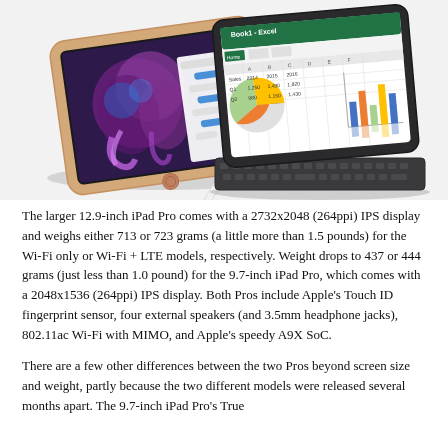[Figure (photo): Two iPad Pro models shown: on the left, a gold/rose gold 9.7-inch iPad Pro lying flat with an Apple Pencil, showing a colorful photo/art app and a chat app on screen. On the right, a space grey iPad Pro with Smart Keyboard in landscape orientation, showing Microsoft Excel with charts on screen.]
The larger 12.9-inch iPad Pro comes with a 2732x2048 (264ppi) IPS display and weighs either 713 or 723 grams (a little more than 1.5 pounds) for the Wi-Fi only or Wi-Fi + LTE models, respectively. Weight drops to 437 or 444 grams (just less than 1.0 pound) for the 9.7-inch iPad Pro, which comes with a 2048x1536 (264ppi) IPS display. Both Pros include Apple’s Touch ID fingerprint sensor, four external speakers (and 3.5mm headphone jacks), 802.11ac Wi-Fi with MIMO, and Apple’s speedy A9X SoC.
There are a few other differences between the two Pros beyond screen size and weight, partly because the two different models were released several months apart. The 9.7-inch iPad Pro’s True